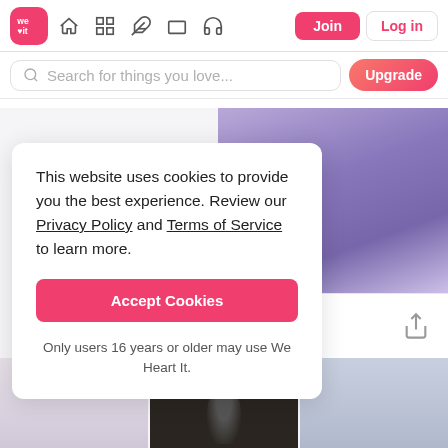[Figure (screenshot): We Heart It website navigation bar with logo, home, grid, feather, rectangle, headphone icons, Join and Log in buttons]
[Figure (screenshot): Search bar with placeholder text 'Search for things you love...' and an Upgrade button]
This website uses cookies to provide you the best experience. Review our Privacy Policy and Terms of Service to learn more.
Accept Cookies
Only users 16 years or older may use We Heart It.